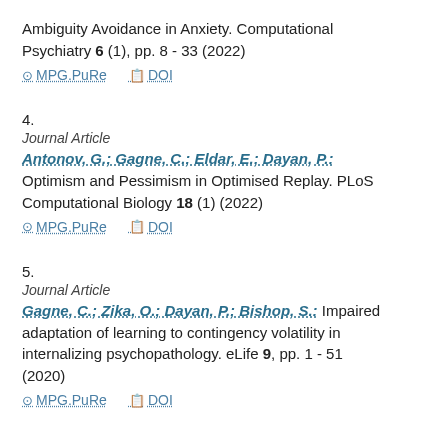Ambiguity Avoidance in Anxiety. Computational Psychiatry 6 (1), pp. 8 - 33 (2022)
MPG.PuRe   DOI
4.
Journal Article
Antonov, G.; Gagne, C.; Eldar, E.; Dayan, P.: Optimism and Pessimism in Optimised Replay. PLoS Computational Biology 18 (1) (2022)
MPG.PuRe   DOI
5.
Journal Article
Gagne, C.; Zika, O.; Dayan, P.; Bishop, S.: Impaired adaptation of learning to contingency volatility in internalizing psychopathology. eLife 9, pp. 1 - 51 (2020)
MPG.PuRe   DOI